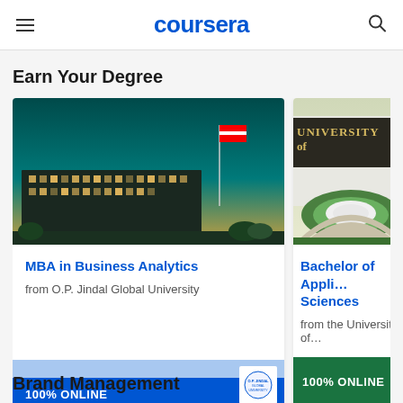[Figure (logo): Coursera website header with hamburger menu, Coursera logo, and search icon]
Earn Your Degree
[Figure (photo): Modern university building at night with flag and teal sky]
MBA in Business Analytics
from O.P. Jindal Global University
100% ONLINE
[Figure (photo): University sign with garden — partially visible]
Bachelor of Applied Sciences
from the University of…
100% ONLINE
Brand Management